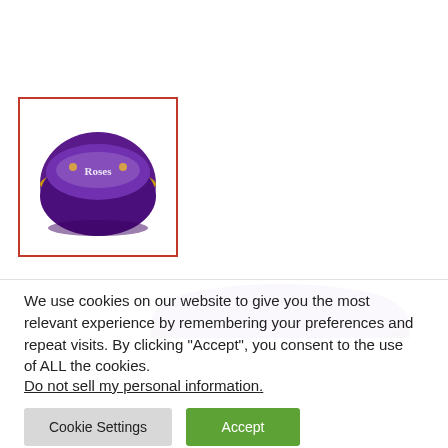[Figure (photo): Thumbnail of a Cadbury Roses chocolate tin with a purple lid, shown inside a red-bordered selection box.]
[Figure (photo): Partial view of a large Cadbury Roses chocolate tin, showing the top of the purple lid, partially obscured by the cookie consent overlay.]
We use cookies on our website to give you the most relevant experience by remembering your preferences and repeat visits. By clicking “Accept”, you consent to the use of ALL the cookies.
Do not sell my personal information.
Cookie Settings
Accept